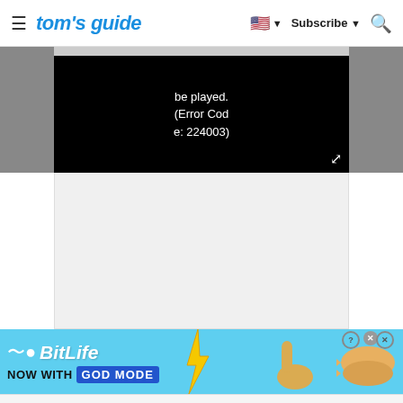tom's guide — Subscribe
[Figure (screenshot): Video player showing error message: 'be played. (Error Code: 224003)' on black background with gray side panels]
[Figure (screenshot): Gray empty content area placeholder]
[Figure (screenshot): BitLife advertisement banner: 'NOW WITH GOD MODE' on blue background with cartoon hands]